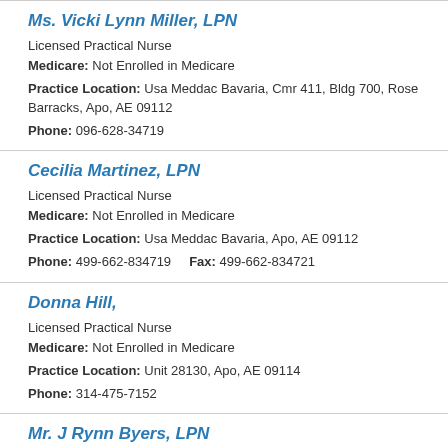Ms. Vicki Lynn Miller, LPN
Licensed Practical Nurse
Medicare: Not Enrolled in Medicare
Practice Location: Usa Meddac Bavaria, Cmr 411, Bldg 700, Rose Barracks, Apo, AE 09112
Phone: 096-628-34719
Cecilia Martinez, LPN
Licensed Practical Nurse
Medicare: Not Enrolled in Medicare
Practice Location: Usa Meddac Bavaria, Apo, AE 09112
Phone: 499-662-834719    Fax: 499-662-834721
Donna Hill,
Licensed Practical Nurse
Medicare: Not Enrolled in Medicare
Practice Location: Unit 28130, Apo, AE 09114
Phone: 314-475-7152
Mr. J Rynn Byers, LPN